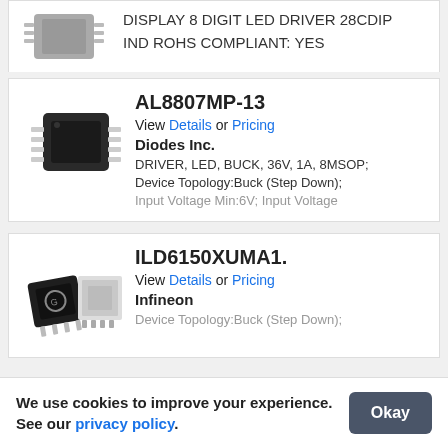DISPLAY 8 DIGIT LED DRIVER 28CDIP IND ROHS COMPLIANT: YES
[Figure (photo): IC chip component photo - small black integrated circuit]
AL8807MP-13
View Details or Pricing
Diodes Inc.
DRIVER, LED, BUCK, 36V, 1A, 8MSOP; Device Topology:Buck (Step Down); Input Voltage Min:6V; Input Voltage
[Figure (photo): Two IC chip components - SOT and flat package integrated circuits from Infineon]
ILD6150XUMA1.
View Details or Pricing
Infineon
Device Topology:Buck (Step Down);
We use cookies to improve your experience. See our privacy policy.